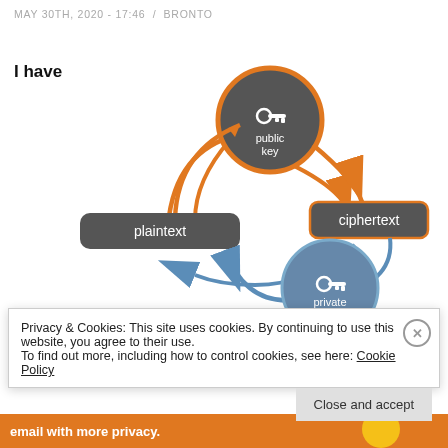MAY 30TH, 2020 - 17:46  /  BRONTO
I have
[Figure (infographic): Public key encryption diagram showing: a circle labeled 'public key' with a key icon (orange border), connected by an orange arrow to a 'ciphertext' box (orange border), and a circle labeled 'private key' with a key icon (blue/gray), connected by a blue arrow to a 'plaintext' box (gray). The orange arrow goes from public key circle to ciphertext box; blue arrow goes from ciphertext area to plaintext box. Plaintext and ciphertext are rounded rectangle boxes.]
Image from
http://technolawyer.com/2018/08/06/...y-
Privacy & Cookies: This site uses cookies. By continuing to use this website, you agree to their use.
To find out more, including how to control cookies, see here: Cookie Policy
Close and accept